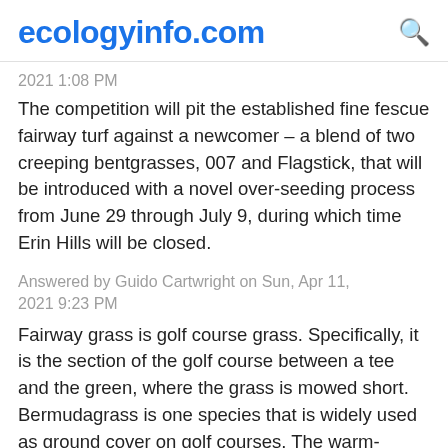ecologyinfo.com
2021 1:08 PM
The competition will pit the established fine fescue fairway turf against a newcomer – a blend of two creeping bentgrasses, 007 and Flagstick, that will be introduced with a novel over-seeding process from June 29 through July 9, during which time Erin Hills will be closed.
Answered by Guido Cartwright on Sun, Apr 11, 2021 9:23 PM
Fairway grass is golf course grass. Specifically, it is the section of the golf course between a tee and the green, where the grass is mowed short. Bermudagrass is one species that is widely used as ground cover on golf courses. The warm-season